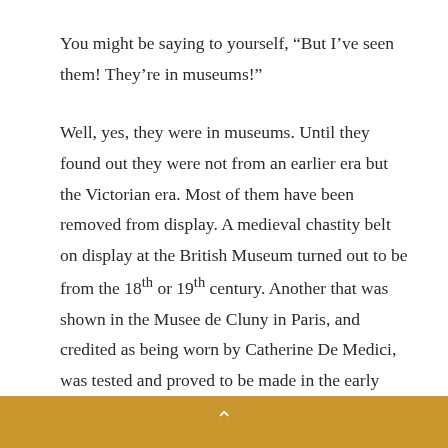You might be saying to yourself, "But I've seen them! They're in museums!"
Well, yes, they were in museums. Until they found out they were not from an earlier era but the Victorian era. Most of them have been removed from display. A medieval chastity belt on display at the British Museum turned out to be from the 18th or 19th century. Another that was shown in the Musee de Cluny in Paris, and credited as being worn by Catherine De Medici, was tested and proved to be made in the early 1800s. In typical fashion, we became so enamored with the idea of the chastity belt we never actually looked at how improbable their use...
^